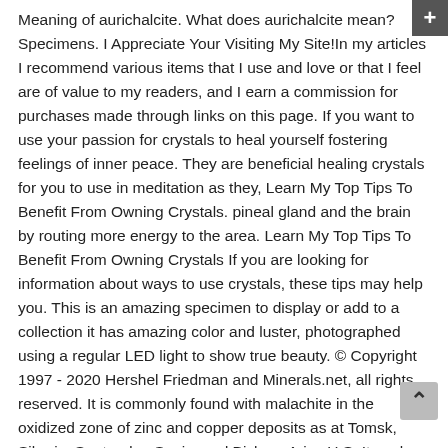Meaning of aurichalcite. What does aurichalcite mean? Specimens. I Appreciate Your Visiting My Site!In my articles I recommend various items that I use and love or that I feel are of value to my readers, and I earn a commission for purchases made through links on this page. If you want to use your passion for crystals to heal yourself fostering feelings of inner peace. They are beneficial healing crystals for you to use in meditation as they, Learn My Top Tips To Benefit From Owning Crystals. pineal gland and the brain by routing more energy to the area. Learn My Top Tips To Benefit From Owning Crystals If you are looking for information about ways to use crystals, these tips may help you. This is an amazing specimen to display or add to a collection it has amazing color and luster, photographed using a regular LED light to show true beauty. © Copyright 1997 - 2020 Hershel Friedman and Minerals.net, all rights reserved. It is commonly found with malachite in the oxidized zone of zinc and copper deposits as at Tomsk, Siberia; Santander, Spain; and Bisbee, Ariz., U.S. Its pale blue-green featherlike form distinguishes it from malachite; and, because it is a weathered product of zinc-rich ores, it can serve as a guide to zinc ... (The ratio of zinc to copper is about 5:2). Light blue, sky blue, blue-green, pale green, Most often as a mat of tiny,